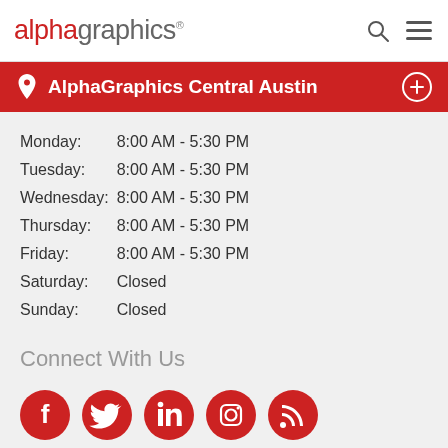alphagraphics
AlphaGraphics Central Austin
| Day | Hours |
| --- | --- |
| Monday: | 8:00 AM - 5:30 PM |
| Tuesday: | 8:00 AM - 5:30 PM |
| Wednesday: | 8:00 AM - 5:30 PM |
| Thursday: | 8:00 AM - 5:30 PM |
| Friday: | 8:00 AM - 5:30 PM |
| Saturday: | Closed |
| Sunday: | Closed |
Connect With Us
[Figure (infographic): Five social media icons in red circles: Facebook, Twitter, LinkedIn, Instagram, RSS]